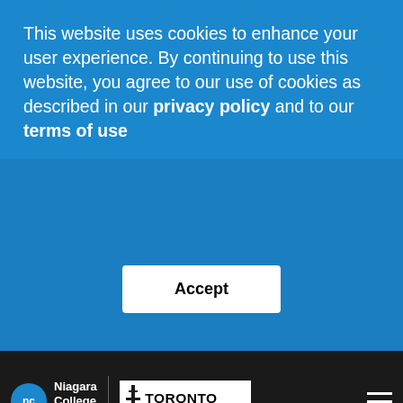This website uses cookies to enhance your user experience. By continuing to use this website, you agree to our use of cookies as described in our privacy policy and to our terms of use
Accept
[Figure (logo): Niagara College Canada logo with 'nc' in blue circle and Toronto School of Management logo]
First Name
LAST NAME*
Last Name
EMAIL*
Email
HONE*
United Stati
Telephone